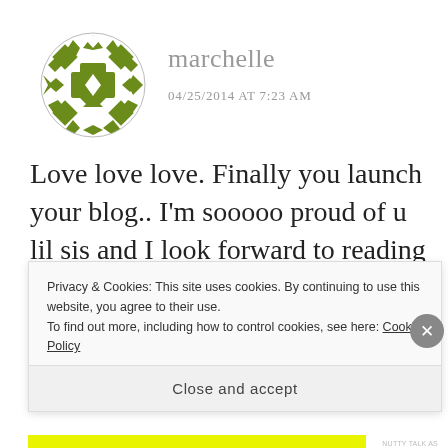[Figure (illustration): Green geometric quilt-pattern avatar icon with diamond and cross shapes]
marchelle
04/25/2014 AT 7:23 AM
Love love love. Finally you launch your blog.. I'm sooooo proud of u lil sis and I look forward to reading journey!
Privacy & Cookies: This site uses cookies. By continuing to use this website, you agree to their use.
To find out more, including how to control cookies, see here: Cookie Policy
Close and accept